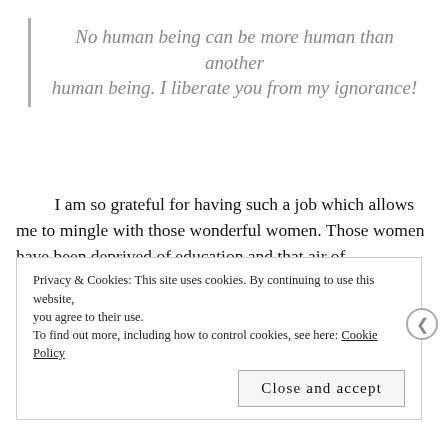No human being can be more human than another human being. I liberate you from my ignorance!
I am so grateful for having such a job which allows me to mingle with those wonderful women. Those women have been deprived of education and that air of independence and freedom I currently enjoy. These feelings did not happen overnight as I had to pay upfront and stand lonely during the last seven years. I have tribal roots, but I usually have that feeling of being rootless. Maybe it stems from
Privacy & Cookies: This site uses cookies. By continuing to use this website, you agree to their use.
To find out more, including how to control cookies, see here: Cookie Policy

Close and accept